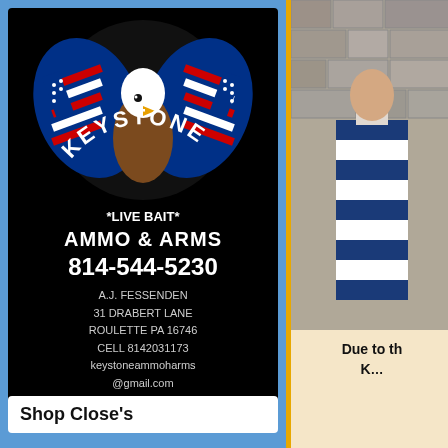[Figure (photo): Keystone Ammo & Arms advertisement on black background with eagle and American flag graphic. Text: KEYSTONE, *LIVE BAIT*, AMMO & ARMS, 814-544-5230, A.J. FESSENDEN, 31 DRABERT LANE, ROULETTE PA 16746, CELL 8142031173, keystoneammoharms@gmail.com, Facebook Page]
Shop Close's
[Figure (photo): Photo of a person in blue and white striped clothing against a stone/brick wall background]
Due to th... K...